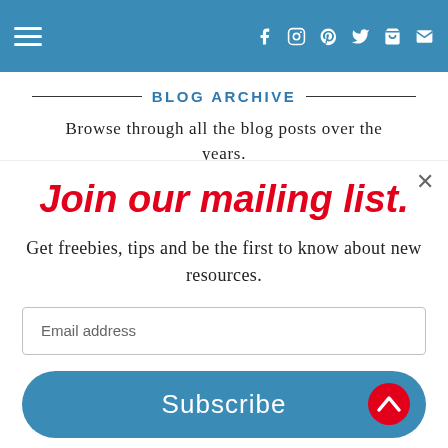Navigation bar with hamburger menu and social icons (Facebook, Instagram, Pinterest, Twitter, Cart, Email)
BLOG ARCHIVE
Browse through all the blog posts over the years.
Join our mailing list.
Get freebies, tips and be the first to know about new resources.
Email address
Subscribe